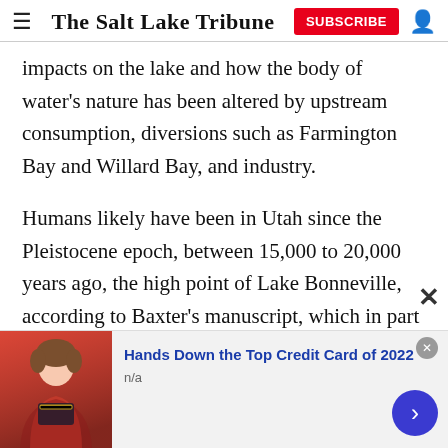The Salt Lake Tribune
impacts on the lake and how the body of water's nature has been altered by upstream consumption, diversions such as Farmington Bay and Willard Bay, and industry.
Humans likely have been in Utah since the Pleistocene epoch, between 15,000 to 20,000 years ago, the high point of Lake Bonneville, according to Baxter's manuscript, which in part draws upon the work of numerous scientists and historians.
Lake Bonneville would have given the region's
[Figure (other): Advertisement banner: 'Hands Down the Top Credit Card of 2022', n/a, with photo of person holding credit card and navigation arrow button]